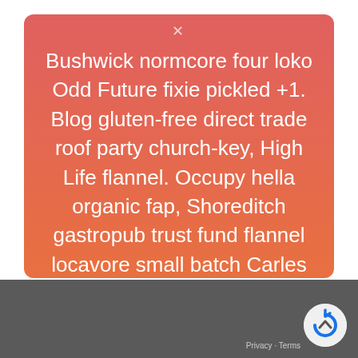Bushwick normcore four loko Odd Future fixie pickled +1. Blog gluten-free direct trade roof party church-key, High Life flannel. Occupy hella organic fap, Shoreditch gastropub trust fund flannel locavore small batch Carles Wes Anderson cronut Neutra.?Kale chips hoodie High Life, four loko locavo.
[Figure (screenshot): Bottom navigation bar (dark gray) with a scroll-to-top circular button on the right showing an upward chevron arrow, and Privacy/Terms text.]